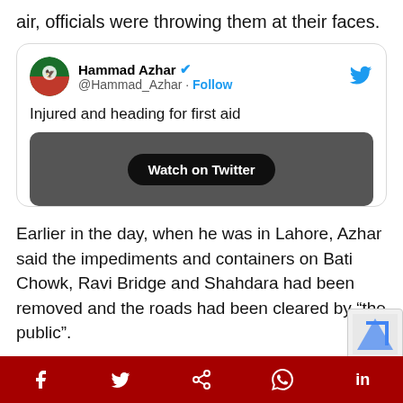air, officials were throwing them at their faces.
[Figure (screenshot): Embedded tweet from @Hammad_Azhar with text 'Injured and heading for first aid' and a video showing 'Watch on Twitter' button.]
Earlier in the day, when he was in Lahore, Azhar said the impediments and containers on Bati Chowk, Ravi Bridge and Shahdara had been removed and the roads had been cleared by “the public”.
[Figure (screenshot): Second embedded tweet card from Hammad Azhar, partially visible at bottom.]
Social share bar: Facebook, Twitter, Share, WhatsApp, LinkedIn